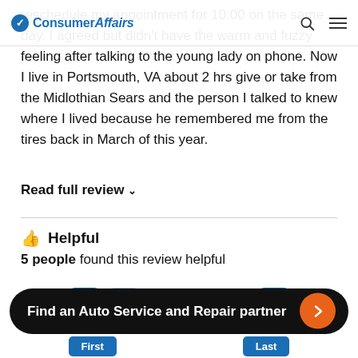ConsumerAffairs
reschedule my appointment for 10:00 on the same day. I agreed but didn't have the warm and fuzzy feeling after talking to the young lady on phone. Now I live in Portsmouth, VA about 2 hrs give or take from the Midlothian Sears and the person I talked to knew where I lived because he remembered me from the tires back in March of this year.
Read full review ∨
👍 Helpful
5 people found this review helpful
Find an Auto Service and Repair partner